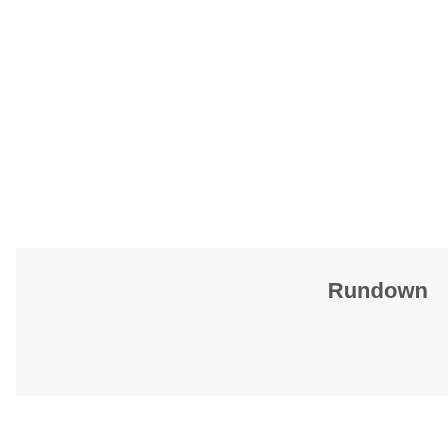Rundown
| No | Hari/Tanggal | Waktu | Ma... |
| --- | --- | --- | --- |